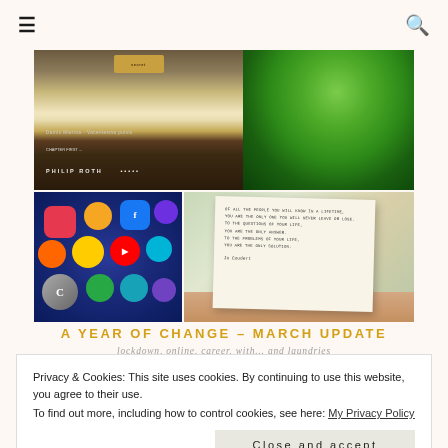≡  🔍
[Figure (photo): Photo collage: top image shows stacked books including Philip Roth title with a green plant beside them on a wooden shelf; bottom-left shows a smartphone with colorful social media app icons; bottom-right shows a hand holding a notecard with typed text quote by Jo Coudert]
A YEAR OF CHANGE – MARCH UPDATE
lockdown, online, career, with... and laundries
Privacy & Cookies: This site uses cookies. By continuing to use this website, you agree to their use.
To find out more, including how to control cookies, see here: My Privacy Policy
Close and accept
in the comments. I love to hear from you. I've